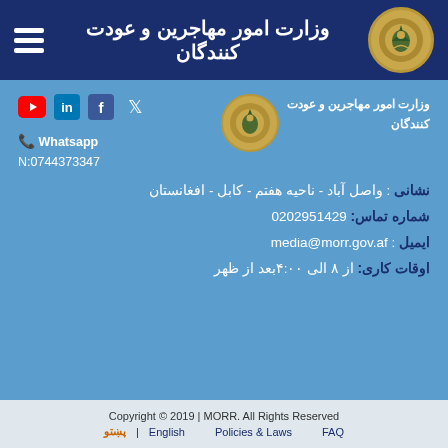وزارت امور مهاجرین و عودت کنندگان
وزارت امور مهاجرین و عودت کنندگان
Whatsapp 📞
N:0744373347
نشانی : واصل آباد - ناحیه هفتم - کابل - افغانستان
شماره تماس:   0202951429
ایمیل : media@morr.gov.af
اوقات کاری: از ۸ الی ۴:۰۰بعد از ظهر
Copyright © 2019 | MORR. All Rights Reserved
پښتو  |  English        Policies & Laws        FAQ